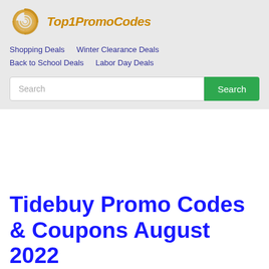[Figure (logo): Top1PromoCodes logo with orange spiral icon and italic orange text]
Shopping Deals   Winter Clearance Deals   Back to School Deals   Labor Day Deals
Search
Tidebuy Promo Codes & Coupons August 2022
Tidebuy Coupons and Promo Codes for August 2022 are